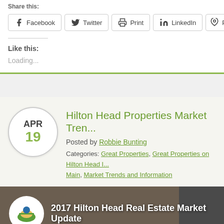Share this:
Facebook
Twitter
Print
LinkedIn
Pinterest
Like this:
Loading...
Hilton Head Properties Market Trends
Posted by Robbie Bunting
Categories: Great Properties, Great Properties on Hilton Head Main, Market Trends and Information
[Figure (screenshot): Video thumbnail showing '2017 Hilton Head Real Estate Market Update' with Hilton Head Properties logo]